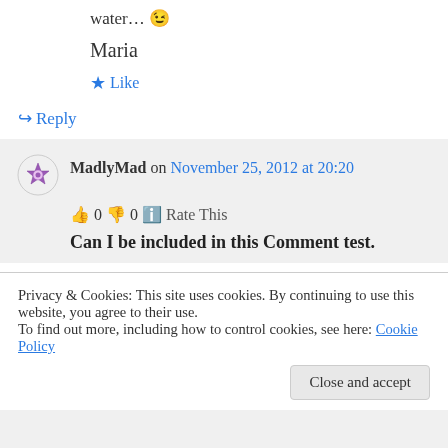water… 😉
Maria
★ Like
↪ Reply
MadlyMad on November 25, 2012 at 20:20
👍 0 👎 0 ℹ Rate This
Can I be included in this Comment test.
Privacy & Cookies: This site uses cookies. By continuing to use this website, you agree to their use.
To find out more, including how to control cookies, see here: Cookie Policy
Close and accept